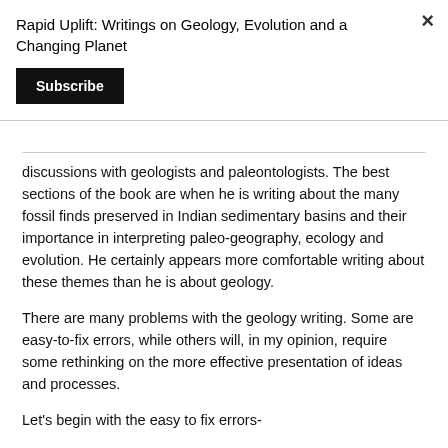Rapid Uplift: Writings on Geology, Evolution and a Changing Planet
Subscribe
discussions with geologists and paleontologists.  The best sections of the book are when he is writing about the many fossil finds preserved in Indian sedimentary basins and their importance in interpreting paleo-geography, ecology and evolution. He certainly appears more comfortable writing about these themes than he is about geology.
There are many problems with the geology writing. Some are easy-to-fix errors, while others will, in my opinion, require some rethinking on the more effective presentation of ideas and processes.
Let's begin with the easy to fix errors-
1) Page 12: Ref: Structure of the earth- "The innermost shell